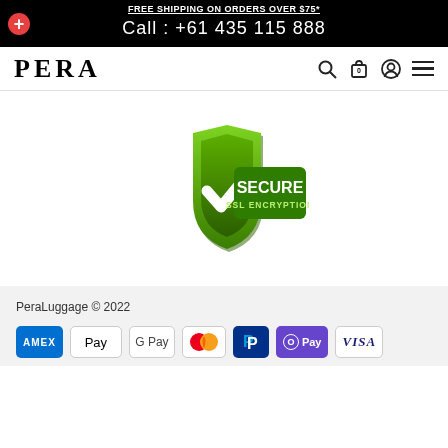FREE SHIPPING ON ORDERS OVER $75*
Call : +61 435 115 888
PERA
[Figure (logo): Secure SSL Encryption badge with green shield and checkmark]
PeraLuggage © 2022
[Figure (infographic): Payment method icons: American Express, Apple Pay, Google Pay, Mastercard, PayPal, OPay, Visa]